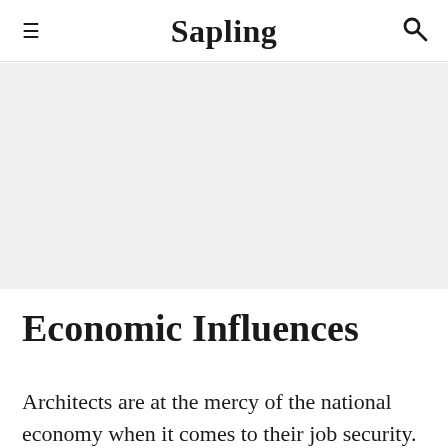Sapling
[Figure (other): Gray advertisement placeholder block]
Economic Influences
Architects are at the mercy of the national economy when it comes to their job security. Building construction typically occurs when the national